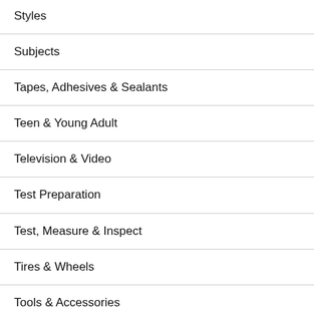Styles
Subjects
Tapes, Adhesives & Sealants
Teen & Young Adult
Television & Video
Test Preparation
Test, Measure & Inspect
Tires & Wheels
Tools & Accessories
Tools & Equipment
Tools & Home Improvement
Toy Remote Control & Play Vehicles